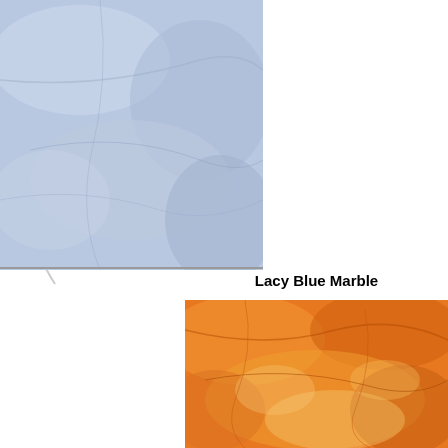[Figure (photo): Light blue marble texture tile sample]
Lacy Blue Marble
[Figure (photo): Orange marble texture tile sample]